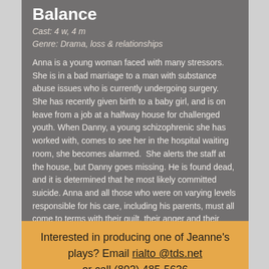Balance
Cast: 4 w, 4 m
Genre: Drama, loss & relationships
Anna is a young woman faced with many stressors. She is in a bad marriage to a man with substance abuse issues who is currently undergoing surgery.  She has recently given birth to a baby girl, and is on leave from a job at a halfway house for challenged youth. When Danny, a young schizophrenic she has worked with, comes to see her in the hospital waiting room, she becomes alarmed.  She alerts the staff at the house, but Danny goes missing. He is found dead, and it is determined that he most likely committed suicide. Anna and all those who were on varying levels responsible for his care, including his parents, must all come to terms with their guilt, their anger and their grief. They try to find balance in a way that Danny never could, but they are limited by all the ways that life defines us.
Interested in producing one of Jeanne's plays? Email rialto@tds.net or call (802) 485-5636